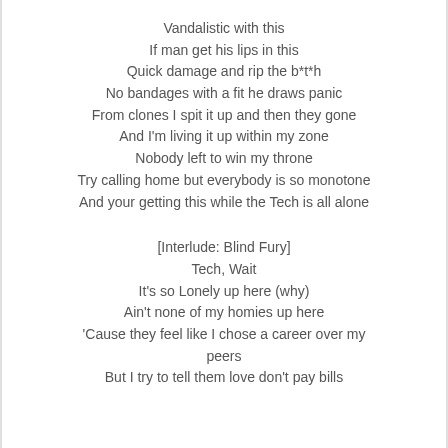Vandalistic with this
If man get his lips in this
Quick damage and rip the b*t*h
No bandages with a fit he draws panic
From clones I spit it up and then they gone
And I'm living it up within my zone
Nobody left to win my throne
Try calling home but everybody is so monotone
And your getting this while the Tech is all alone
[Interlude: Blind Fury]
Tech, Wait
It's so Lonely up here (why)
Ain't none of my homies up here
'Cause they feel like I chose a career over my peers
But I try to tell them love don't pay bills